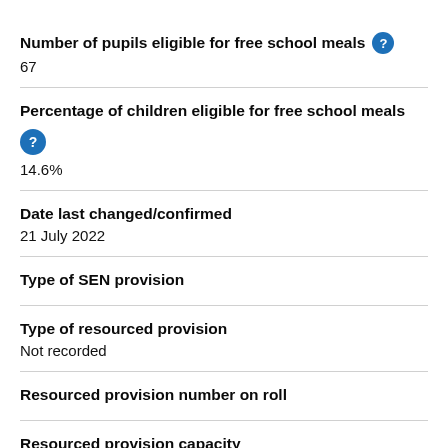Number of pupils eligible for free school meals
67
Percentage of children eligible for free school meals
14.6%
Date last changed/confirmed
21 July 2022
Type of SEN provision
Type of resourced provision
Not recorded
Resourced provision number on roll
Resourced provision capacity